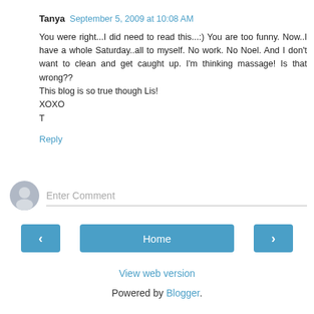Tanya September 5, 2009 at 10:08 AM
You were right...I did need to read this...:) You are too funny. Now..I have a whole Saturday..all to myself. No work. No Noel. And I don't want to clean and get caught up. I'm thinking massage! Is that wrong??
This blog is so true though Lis!
XOXO
T
Reply
[Figure (other): Comment input area with user avatar icon and 'Enter Comment' placeholder text field]
< Home >
View web version
Powered by Blogger.